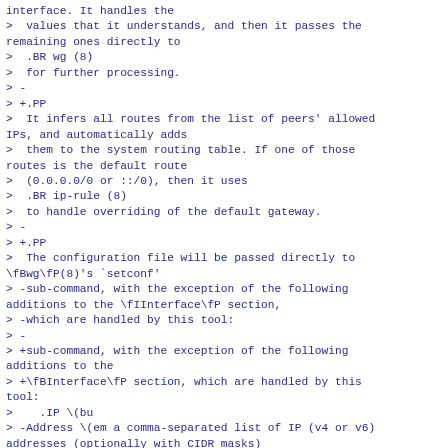interface. It handles the
>  values that it understands, and then it passes the remaining ones directly to
>  .BR wg (8)
>  for further processing.
> -
> +.PP
>  It infers all routes from the list of peers' allowed IPs, and automatically adds
>  them to the system routing table. If one of those routes is the default route
>  (0.0.0.0/0 or ::/0), then it uses
>  .BR ip-rule (8)
>  to handle overriding of the default gateway.
> -
> +.PP
>  The configuration file will be passed directly to \fBwg\fP(8)'s `setconf'
> -sub-command, with the exception of the following additions to the \fIInterface\fP section,
> -which are handled by this tool:
> -
> +sub-command, with the exception of the following additions to the
> +\fBInterface\fP section, which are handled by this tool:
>    .IP \(bu
> -Address \(em a comma-separated list of IP (v4 or v6) addresses (optionally with CIDR masks)
> -to be assigned to the interface. May be specified
  multiple ti...